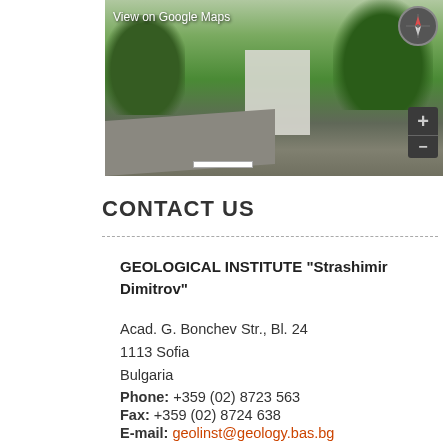[Figure (screenshot): Google Street View screenshot showing a building surrounded by trees, with 'View on Google Maps' text, compass control, and zoom +/- controls]
CONTACT US
GEOLOGICAL INSTITUTE "Strashimir Dimitrov"

Acad. G. Bonchev Str., Bl. 24
1113 Sofia
Bulgaria
Phone: +359 (02) 8723 563
Fax: +359 (02) 8724 638
E-mail: geolinst@geology.bas.bg